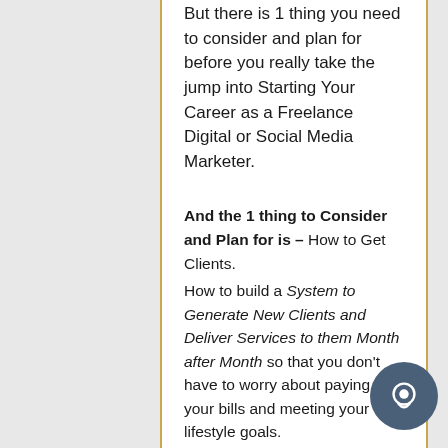But there is 1 thing you need to consider and plan for before you really take the jump into Starting Your Career as a Freelance Digital or Social Media Marketer.
And the 1 thing to Consider and Plan for is – How to Get Clients.
How to build a System to Generate New Clients and Deliver Services to them Month after Month so that you don't have to worry about paying your bills and meeting your lifestyle goals.